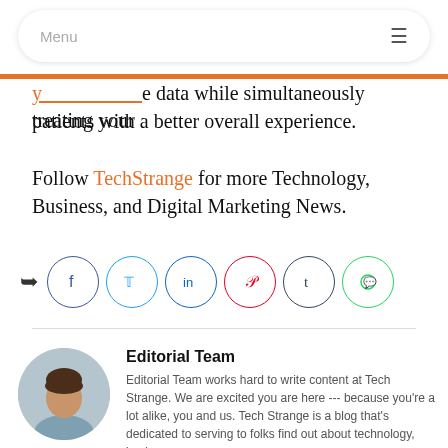Menu
e data while simultaneously treating your patients with a better overall experience.
Follow TechStrange for more Technology, Business, and Digital Marketing News.
[Figure (other): Social sharing icons row: share arrow, Facebook, Twitter, LinkedIn, Pinterest, Tumblr, WhatsApp]
[Figure (illustration): Circular avatar of a generic male silhouette with brown hair, beige skin, grey clothing]
Editorial Team
Editorial Team works hard to write content at Tech Strange. We are excited you are here --- because you're a lot alike, you and us. Tech Strange is a blog that's dedicated to serving to folks find out about technology, business,